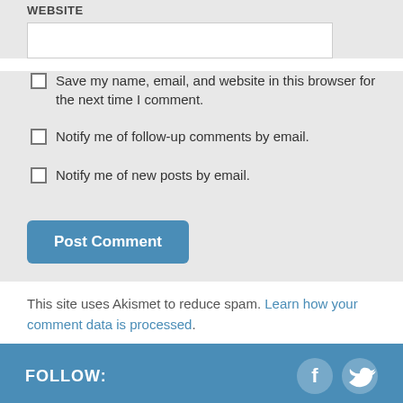Website
Save my name, email, and website in this browser for the next time I comment.
Notify me of follow-up comments by email.
Notify me of new posts by email.
Post Comment
This site uses Akismet to reduce spam. Learn how your comment data is processed.
FOLLOW:
MORE